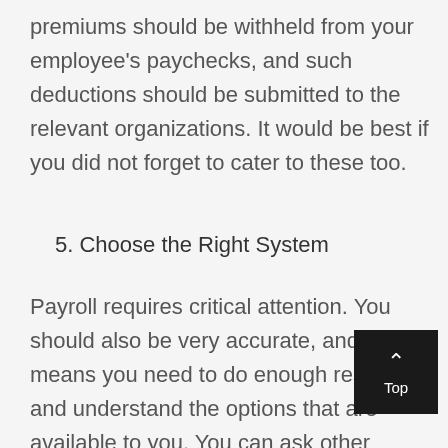premiums should be withheld from your employee's paychecks, and such deductions should be submitted to the relevant organizations. It would be best if you did not forget to cater to these too.
5. Choose the Right System
Payroll requires critical attention. You should also be very accurate, and this means you need to do enough research and understand the options that are available to you. You can ask other business owners about the methods they are using